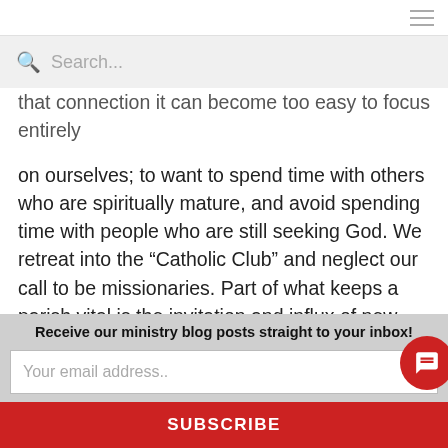Search...
that connection it can become too easy to focus entirely on ourselves; to want to spend time with others who are spiritually mature, and avoid spending time with people who are still seeking God. We retreat into the “Catholic Club” and neglect our call to be missionaries. Part of what keeps a parish vital is the invitation and influx of new people who are in different states of understanding and formation.
So have our churches really changed or are we just s…
Receive our ministry blog posts straight to your inbox!
Your email address..
SUBSCRIBE